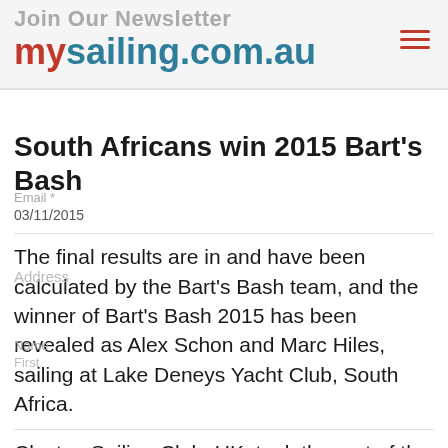Join Our Newsletter mysailing.com.au
South Africans win 2015 Bart's Bash
03/11/2015
The final results are in and have been calculated by the Bart's Bash team, and the winner of Bart's Bash 2015 has been revealed as Alex Schon and Marc Hiles, sailing at Lake Deneys Yacht Club, South Africa.
Clacton Sailing Club, UK, took the rest of the podium places, with Pete Penn and…